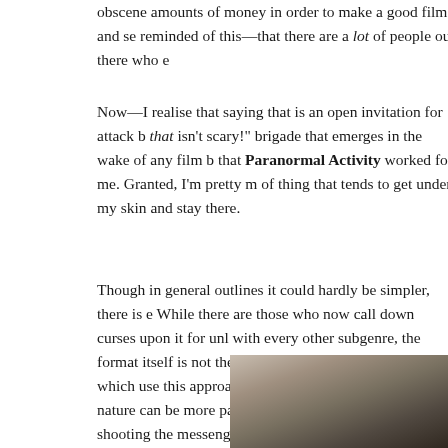obscene amounts of money in order to make a good film; and se reminded of this—that there are a lot of people out there who e
Now—I realise that saying that is an open invitation for attack b that isn't scary!" brigade that emerges in the wake of any film b that Paranormal Activity worked for me. Granted, I'm pretty m of thing that tends to get under my skin and stay there.
Though in general outlines it could hardly be simpler, there is e While there are those who now call down curses upon it for unl with every other subgenre, the format itself is not the issue, only ones; there are those which use this approach for a cogent reaso film of this nature can be more painful (artistically and physically shooting the messenger.
[Figure (photo): A photo partially visible at the bottom right of the page, appearing to show a room interior or people in a setting related to the film Paranormal Activity.]